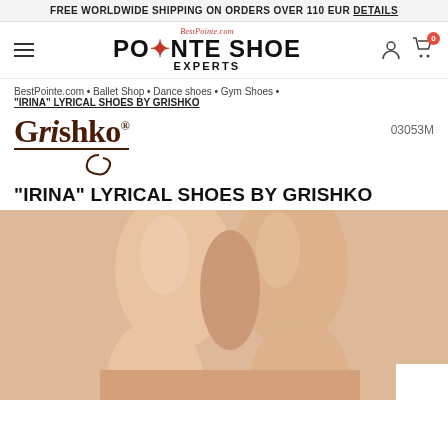FREE WORLDWIDE SHIPPING ON ORDERS OVER 110 EUR DETAILS
[Figure (logo): BestPointe.com Pointe Shoe Experts logo with dancer silhouette, navigation hamburger menu, user icon, and cart icon with badge '0']
BestPointe.com • Ballet Shop • Dance shoes • Gym Shoes • "IRINA" LYRICAL SHOES BY GRISHKO
[Figure (logo): Grishko brand logo in dark brown serif font with underline and script flourish below]
03053M
"IRINA" LYRICAL SHOES BY GRISHKO
[Figure (photo): Close-up photo of dancer's legs/feet in skin-tone lyrical shoes against white background, cropped showing knees and lower legs]